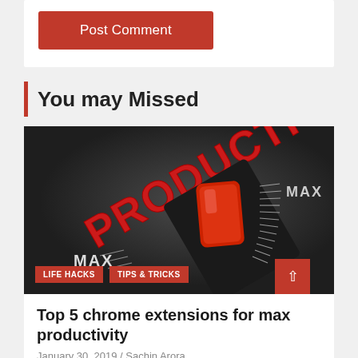Post Comment
You may Missed
[Figure (photo): A dark background image showing a productivity dial/slider turned to MAX, with the word PRODUCTIVITY in red letters at the top and MAX labels on either side of the dial.]
LIFE HACKS   TIPS & TRICKS
Top 5 chrome extensions for max productivity
January 30, 2019 / Sachin Arora